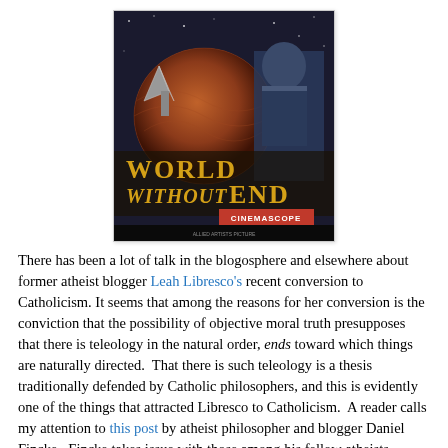[Figure (illustration): Movie poster for 'World Without End' showing a dramatic sci-fi scene with a globe, rocket/arrow, and armored figure, with yellow stylized text reading 'World Without End' and a red 'Cinemascope' label.]
There has been a lot of talk in the blogosphere and elsewhere about former atheist blogger Leah Libresco's recent conversion to Catholicism. It seems that among the reasons for her conversion is the conviction that the possibility of objective moral truth presupposes that there is teleology in the natural order, ends toward which things are naturally directed. That there is such teleology is a thesis traditionally defended by Catholic philosophers, and this is evidently one of the things that attracted Libresco to Catholicism. A reader calls my attention to this post by atheist philosopher and blogger Daniel Fincke. Fincke takes issue with those among his fellow atheists willing to concede to Libresco that an atheist has to reject teleology. Like Libresco, he would ground morality in teleology, but he denies that teleology requires a theological foundation.